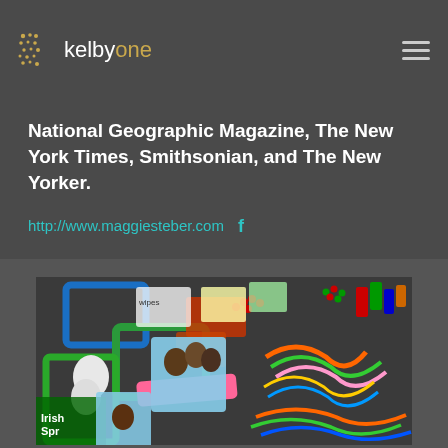kelbyone
National Geographic Magazine, The New York Times, Smithsonian, and The New Yorker.
http://www.maggiesteber.com
[Figure (photo): Colorful cluttered market scene with mirrors and plastic goods; African children visible in reflections of the mirrors]